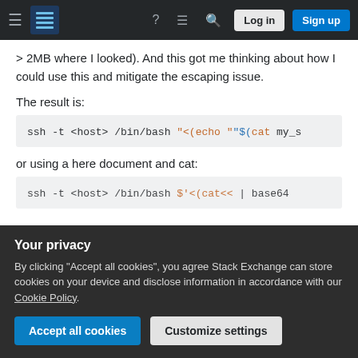Stack Exchange navigation bar with Log in and Sign up buttons
> 2MB where I looked). And this got me thinking about how I could use this and mitigate the escaping issue.
The result is:
[Figure (screenshot): Code block showing: ssh -t <host> /bin/bash "<(echo "$(cat my_s]
or using a here document and cat:
[Figure (screenshot): Code block showing: ssh -t <host> /bin/bash $'<(cat<< | base64]
Your privacy
By clicking "Accept all cookies", you agree Stack Exchange can store cookies on your device and disclose information in accordance with our Cookie Policy.
Accept all cookies
Customize settings